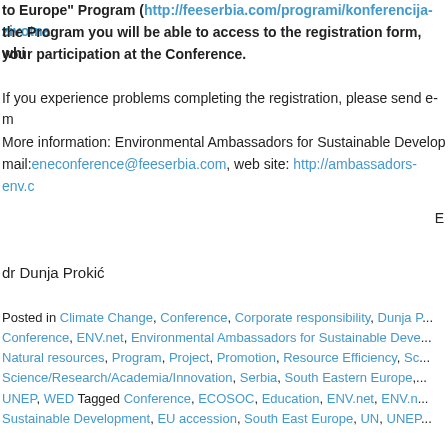to Europe" Program (http://feeserbia.com/programi/konferencija-zivotna... the Program you will be able to access to the registration form, whi... your participation at the Conference.
If you experience problems completing the registration, please send e-m...
More information: Environmental Ambassadors for Sustainable Develop... mail:eneconference@feeserbia.com, web site: http://ambassadors-env.c...
E...
dr Dunja Prokić
Posted in Climate Change, Conference, Corporate responsibility, Dunja P... Conference, ENV.net, Environmental Ambassadors for Sustainable Deve... Natural resources, Program, Project, Promotion, Resource Efficiency, Sc... Science/Research/Academia/Innovation, Serbia, South Eastern Europe, ... UNEP, WED Tagged Conference, ECOSOC, Education, ENV.net, ENV.n... Sustainable Development, EU accession, South East Europe, UN, UNEP...